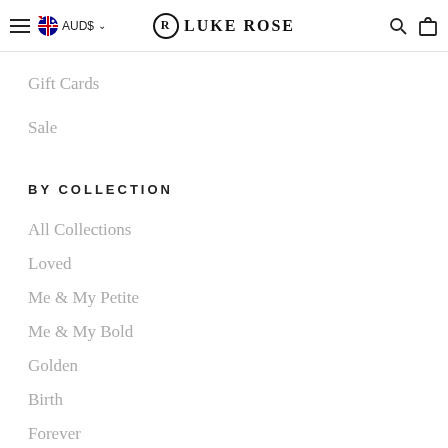LUKE ROSE — AUD$ navigation header
Gift Cards
Sale
BY COLLECTION
All Collections
Loved
Me & My Petite
Me & My Bold
Golden
Birth
Forever
Wisdom